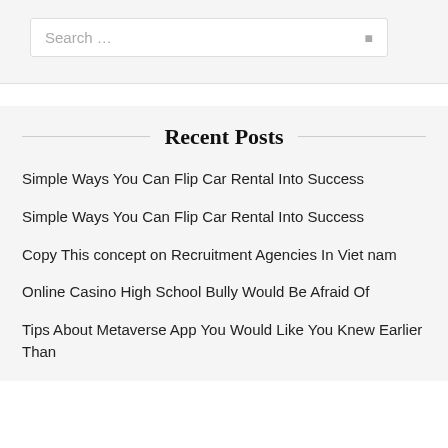Search …
Recent Posts
Simple Ways You Can Flip Car Rental Into Success
Simple Ways You Can Flip Car Rental Into Success
Copy This concept on Recruitment Agencies In Viet nam
Online Casino High School Bully Would Be Afraid Of
Tips About Metaverse App You Would Like You Knew Earlier Than